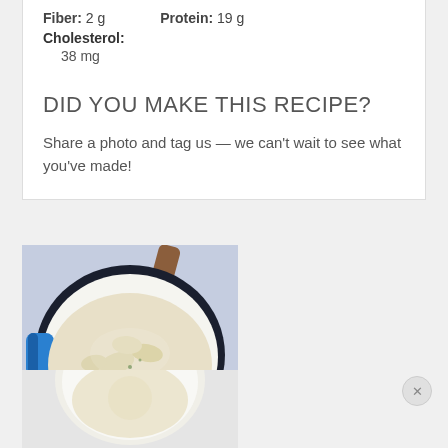Fiber: 2 g    Protein: 19 g
Cholesterol: 38 mg
DID YOU MAKE THIS RECIPE?
Share a photo and tag us — we can't wait to see what you've made!
[Figure (photo): Top-down view of creamy pasta shells in a white enamel pot with blue handles, garnished with herbs, on a white cloth background.]
[Figure (photo): Partial view of a bowl with white creamy dish, partially obscured.]